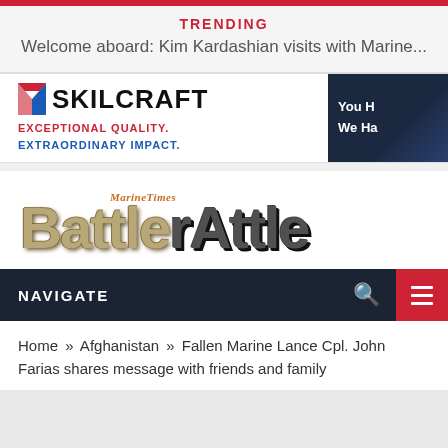TRENDING
Welcome aboard: Kim Kardashian visits with Marine...
[Figure (logo): SKILCRAFT advertisement banner with logo, chevron icon, tagline 'EXCEPTIONAL QUALITY. EXTRAORDINARY IMPACT.' and dark panel with text 'You H... We Ha...']
[Figure (logo): Marine Times Battle Rattle blog logo — 'MarineTimes' in orange italic above stylized 'BattleRattle' text with military/urban texture]
NAVIGATE
Home » Afghanistan » Fallen Marine Lance Cpl. John Farias shares message with friends and family